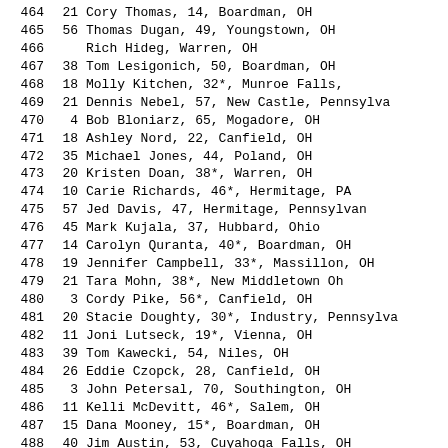| # | Num | Name/Info |
| --- | --- | --- |
| 464 | 21 | Cory Thomas, 14, Boardman, OH |
| 465 | 56 | Thomas Dugan, 49, Youngstown, OH |
| 466 |  | Rich Hideg, Warren, OH |
| 467 | 38 | Tom Lesigonich, 50, Boardman, OH |
| 468 | 18 | Molly Kitchen, 32*, Munroe Falls, |
| 469 | 21 | Dennis Nebel, 57, New Castle, Pennsylva |
| 470 | 4 | Bob Bloniarz, 65, Mogadore, OH |
| 471 | 18 | Ashley Nord, 22, Canfield, OH |
| 472 | 35 | Michael Jones, 44, Poland, OH |
| 473 | 20 | Kristen Doan, 38*, Warren, OH |
| 474 | 10 | Carie Richards, 46*, Hermitage, PA |
| 475 | 57 | Jed Davis, 47, Hermitage, Pennsylvan |
| 476 | 45 | Mark Kujala, 37, Hubbard, Ohio |
| 477 | 14 | Carolyn Quranta, 40*, Boardman, OH |
| 478 | 19 | Jennifer Campbell, 33*, Massillon, OH |
| 479 | 21 | Tara Mohn, 38*, New Middletown Oh |
| 480 | 3 | Cordy Pike, 56*, Canfield, OH |
| 481 | 20 | Stacie Doughty, 30*, Industry, Pennsylva |
| 482 | 11 | Joni Lutseck, 19*, Vienna, OH |
| 483 | 39 | Tom Kawecki, 54, Niles, OH |
| 484 | 26 | Eddie Czopck, 28, Canfield, OH |
| 485 | 3 | John Petersal, 70, Southington, OH |
| 486 | 11 | Kelli McDevitt, 46*, Salem, OH |
| 487 | 15 | Dana Mooney, 15*, Boardman, OH |
| 488 | 40 | Jim Austin, 53, Cuyahoga Falls, OH |
| 489 | 36 | Sam Costello, 42, Hubbard, OH |
| 490 | 33 | Mike Wirtz, 31, Canfield, Ohio |
| 491 | 19 | Neel Parekh, 20, Youngstown, Ohio |